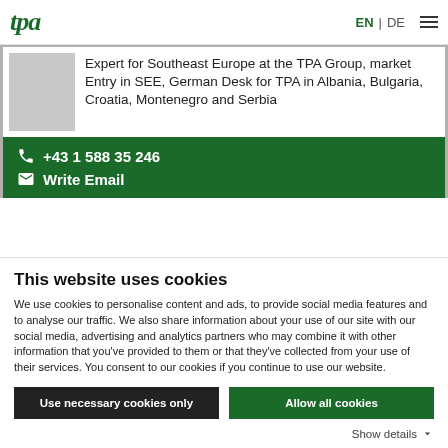tpa | EN | DE
Expert for Southeast Europe at the TPA Group, market Entry in SEE, German Desk for TPA in Albania, Bulgaria, Croatia, Montenegro and Serbia
+43 1 588 35 246 | Write Email
This website uses cookies
We use cookies to personalise content and ads, to provide social media features and to analyse our traffic. We also share information about your use of our site with our social media, advertising and analytics partners who may combine it with other information that you've provided to them or that they've collected from your use of their services. You consent to our cookies if you continue to use our website.
Use necessary cookies only | Allow all cookies
Show details